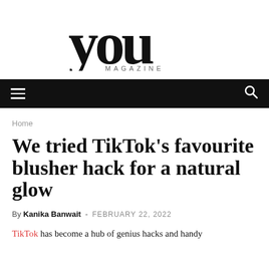[Figure (logo): YOU Magazine logo — large serif 'you' wordmark with 'MAGAZINE' in spaced caps beneath]
[Figure (screenshot): Black navigation bar with hamburger menu icon on left and search icon on right]
Home
We tried TikTok's favourite blusher hack for a natural glow
By Kanika Banwait - FEBRUARY 22, 2022
TikTok has become a hub of genius hacks and handy